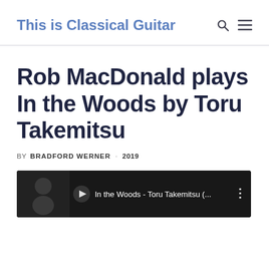This is Classical Guitar
Rob MacDonald plays In the Woods by Toru Takemitsu
BY BRADFORD WERNER · 2019
[Figure (screenshot): Video thumbnail showing 'In the Woods - Toru Takemitsu (...)' with a dark background and a person playing guitar]